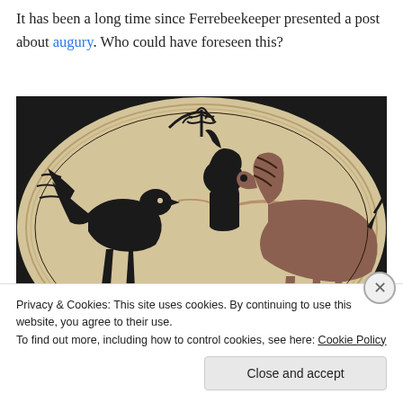It has been a long time since Ferrebeekeeper presented a post about augury. Who could have foreseen this?
[Figure (photo): Ancient Greek black-figure pottery painting showing a warrior or deity riding in a chariot pulled by horses, with winged creatures (griffins or sphinxes) depicted. The scene is on a circular vessel with beige/cream background and black figures.]
Privacy & Cookies: This site uses cookies. By continuing to use this website, you agree to their use.
To find out more, including how to control cookies, see here: Cookie Policy